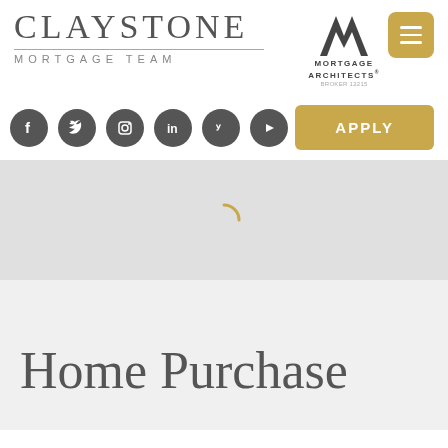[Figure (logo): Claystone Mortgage Team logo with gold divider line and sans-serif subtitle]
[Figure (logo): Mortgage Architects MA logo in dark gray]
[Figure (other): Gold hamburger menu button]
[Figure (other): Row of 6 social media icons: Facebook, Twitter, Instagram, LinkedIn, Yelp, YouTube]
[Figure (other): Gold APPLY button]
[Figure (other): Loading spinner (curved arc) on gray background]
Home Purchase